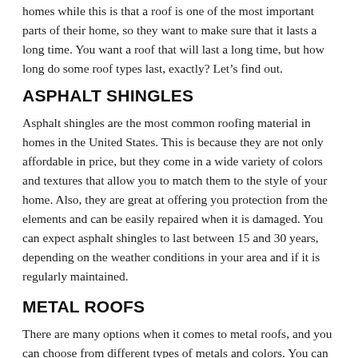homes while this is that a roof is one of the most important parts of their home, so they want to make sure that it lasts a long time. You want a roof that will last a long time, but how long do some roof types last, exactly? Let’s find out.
ASPHALT SHINGLES
Asphalt shingles are the most common roofing material in homes in the United States. This is because they are not only affordable in price, but they come in a wide variety of colors and textures that allow you to match them to the style of your home. Also, they are great at offering you protection from the elements and can be easily repaired when it is damaged. You can expect asphalt shingles to last between 15 and 30 years, depending on the weather conditions in your area and if it is regularly maintained.
METAL ROOFS
There are many options when it comes to metal roofs, and you can choose from different types of metals and colors. You can